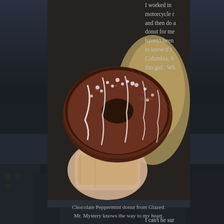[Figure (photo): A hand holding a large chocolate peppermint donut with white icing drizzle and crushed candy pieces on top, with a Glazed bakery bag in the background.]
I worked in motorcycle r and then do a donut for me haven't been to know if I Columbia, S this girl.  Wh
Chocolate Peppermint donut from Glazed.
Mr. Mystery knows the way to my heart.
I can't be sur understand t because this is where Mr. Mystery was going to be.  I didn't just mo employed and I wouldn't be whining about missed opportunities due
I no longer take it personally when people don't read Teh Blog, but everyday life with, maybe chat me up a bit before making absurd su that I blog ask me what's been going on in my life, I ask them if they are for public consumption and that I'd share with my parents, even time I walked in (who doesn't lock the door when they have kids?!) napping naked)).  Yes, I understand that this doesn't make up for hu what happened with you last week.  Le sigh.  /endrant